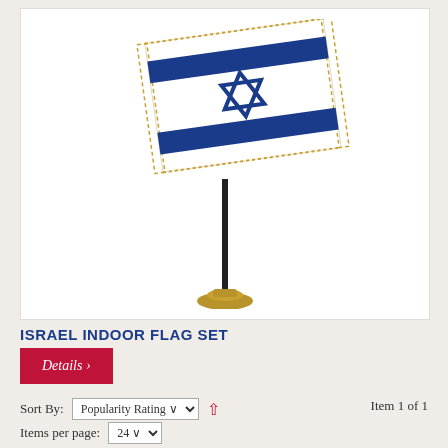[Figure (photo): Israel indoor flag set on a gold base stand, white flag with two blue horizontal stripes and a Star of David in the center, gold fringe on edges, displayed on a black pole with ornate gold base]
ISRAEL INDOOR FLAG SET
Details >
Sort By: Popularity Rating ▲ Item 1 of 1
Items per page: 24